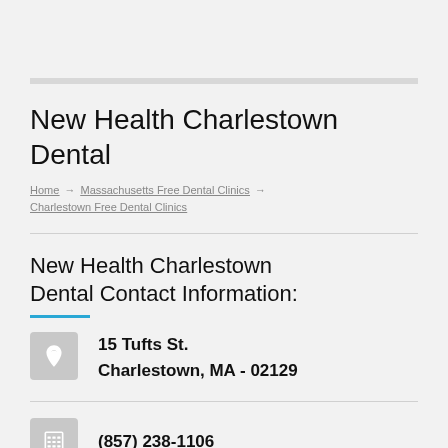New Health Charlestown Dental
Home → Massachusetts Free Dental Clinics → Charlestown Free Dental Clinics
New Health Charlestown Dental Contact Information:
15 Tufts St.
Charlestown, MA - 02129
(857) 238-1106